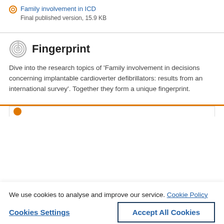Family involvement in ICD
Final published version, 15.9 KB
Fingerprint
Dive into the research topics of 'Family involvement in decisions concerning implantable cardioverter defibrillators: results from an international survey'. Together they form a unique fingerprint.
We use cookies to analyse and improve our service. Cookie Policy
Cookies Settings
Accept All Cookies